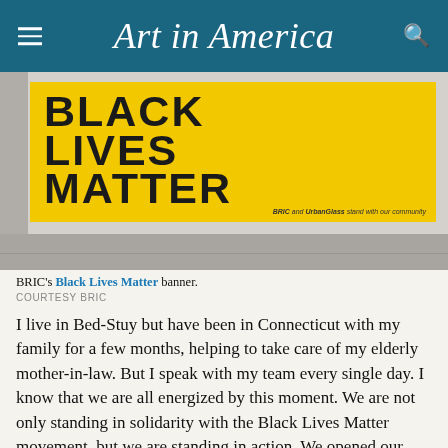Art in America
[Figure (photo): A large yellow banner reading BLACK LIVES MATTER in bold black text, hung on a white brick building exterior. Small text reads 'BRIC and UrbanGlass stand with our community'. Sidewalk visible at the bottom.]
BRIC's Black Lives Matter banner.
COURTESY BRIC
I live in Bed-Stuy but have been in Connecticut with my family for a few months, helping to take care of my elderly mother-in-law. But I speak with my team every single day. I know that we are all energized by this moment. We are not only standing in solidarity with the Black Lives Matter movement, but we are standing in action. We opened our